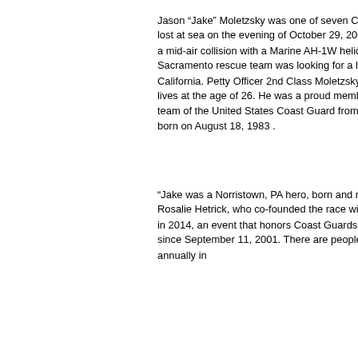Jason “Jake” Moletzsky was one of seven Coast Guards and two Marines lost at sea on the evening of October 29, 2009. A Coast guard C-130 suffered a mid-air collision with a Marine AH-1W helicopter. The Air Station Sacramento rescue team was looking for a lost boater off the coast of California. Petty Officer 2nd Class Moletzsky was tragically taken from our lives at the age of 26. He was a proud member of the Search and Rescue team of the United States Coast Guard from Sacramento, California. He was born on August 18, 1983 .
“Jake was a Norristown, PA hero, born and raised here,” said organizer Rosalie Hetrick, who co-founded the race with Jake’s mom, Lisa Moletzsky, in 2014, an event that honors Coast Guards who have died in the line of duty since September 11, 2001. There are people world wide participating annually in